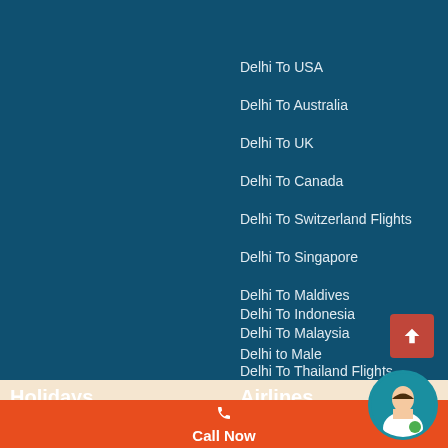Delhi To USA
Delhi To Australia
Delhi To UK
Delhi To Canada
Delhi To Switzerland Flights
Delhi To Singapore
Delhi To Maldives
Delhi To Malaysia
Delhi To Thailand Flights
Delhi To Indonesia
Delhi to Male
Holidays
Airlines
Call Now